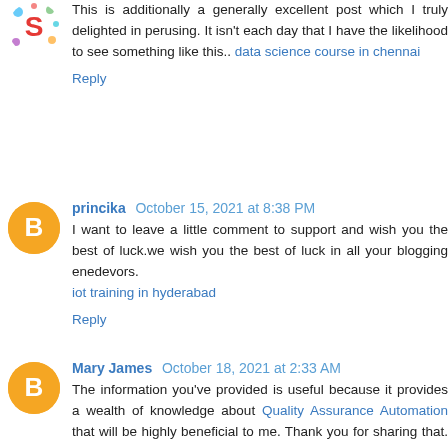This is additionally a generally excellent post which I truly delighted in perusing. It isn't each day that I have the likelihood to see something like this.. data science course in chennai
Reply
princika  October 15, 2021 at 8:38 PM
I want to leave a little comment to support and wish you the best of luck.we wish you the best of luck in all your blogging enedevors.
iot training in hyderabad
Reply
Mary James  October 18, 2021 at 2:33 AM
The information you've provided is useful because it provides a wealth of knowledge about Quality Assurance Automation that will be highly beneficial to me. Thank you for sharing that. Keep up the good work.